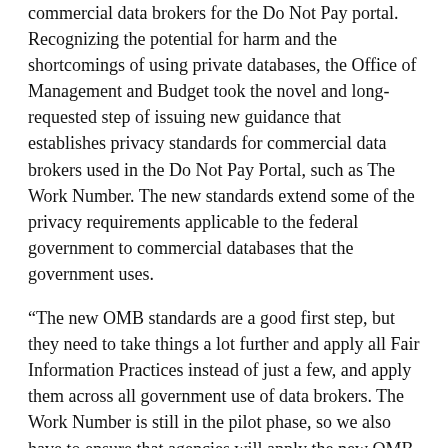commercial data brokers for the Do Not Pay portal. Recognizing the potential for harm and the shortcomings of using private databases, the Office of Management and Budget took the novel and long-requested step of issuing new guidance that establishes privacy standards for commercial data brokers used in the Do Not Pay Portal, such as The Work Number. The new standards extend some of the privacy requirements applicable to the federal government to commercial databases that the government uses.
“The new OMB standards are a good first step, but they need to take things a lot further and apply all Fair Information Practices instead of just a few, and apply them across all government use of data brokers. The Work Number is still in the pilot phase, so we also have to ensure that agencies will apply the new OMB rules they are supposed to before they can permanently include these kinds of databases in this program,” said Dixon.